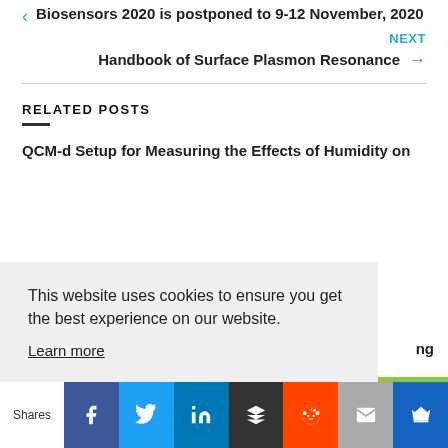Biosensors 2020 is postponed to 9-12 November, 2020
NEXT
Handbook of Surface Plasmon Resonance
RELATED POSTS
QCM-d Setup for Measuring the Effects of Humidity on ...ng
This website uses cookies to ensure you get the best experience on our website.
Learn more
Shares